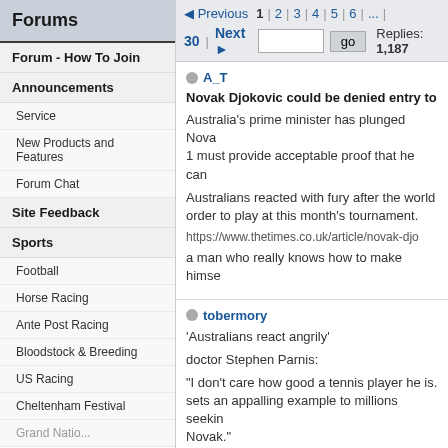Forums
Forum - How To Join
Announcements
Service
New Products and Features
Forum Chat
Site Feedback
Sports
Football
Horse Racing
Ante Post Racing
Bloodstock & Breeding
US Racing
Cheltenham Festival
◄ Previous  1  |  2  |  3  |  4  |  5  |  6  |  ...  |
30  |  Next ►   [input]  go
Replies: 1,187
A_T
Novak Djokovic could be denied entry to
Australia's prime minister has plunged Nova
1 must provide acceptable proof that he can
Australians reacted with fury after the world
order to play at this month's tournament.
https://www.thetimes.co.uk/article/novak-djo
a man who really knows how to make himse
tobermory
'Australians react angrily'
doctor Stephen Parnis:
"I don't care how good a tennis player he is.
sets an appalling example to millions seekin
Novak."